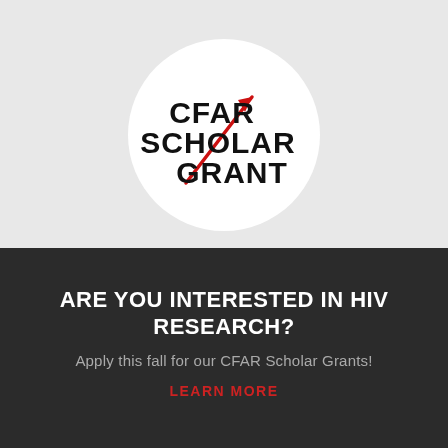[Figure (logo): CFAR Scholar Grant logo: white circle on grey background with bold black text 'CFAR SCHOLAR GRANT' and a red diagonal arrow line through the text]
ARE YOU INTERESTED IN HIV RESEARCH?
Apply this fall for our CFAR Scholar Grants!
LEARN MORE